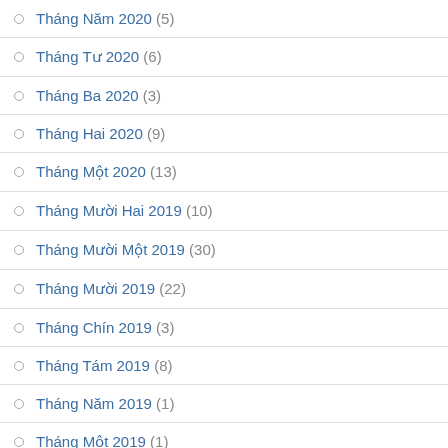Tháng Năm 2020 (5)
Tháng Tư 2020 (6)
Tháng Ba 2020 (3)
Tháng Hai 2020 (9)
Tháng Một 2020 (13)
Tháng Mười Hai 2019 (10)
Tháng Mười Một 2019 (30)
Tháng Mười 2019 (22)
Tháng Chín 2019 (3)
Tháng Tám 2019 (8)
Tháng Năm 2019 (1)
Tháng Một 2019 (1)